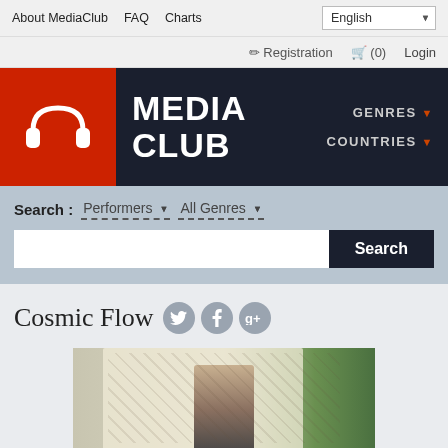About MediaClub  FAQ  Charts
Registration  (0)  Login
[Figure (logo): MediaClub logo: red square with white headphones icon, dark navy background with MEDIA CLUB text in bold white, GENRES and COUNTRIES navigation dropdowns on right]
Search : Performers ▼  All Genres ▼
Search
Cosmic Flow
[Figure (photo): Photo of performer (Cosmic Flow) at an outdoor event, standing in front of a decorative fabric backdrop with patterns, trees visible in background]